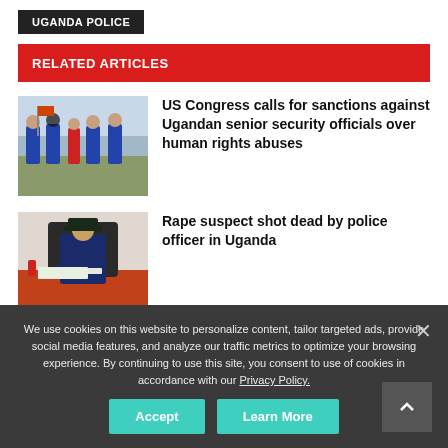UGANDA POLICE
RELATED ARTICLES
[Figure (photo): Police officers in blue uniforms confronting people outdoors]
US Congress calls for sanctions against Ugandan senior security officials over human rights abuses
[Figure (photo): A police officer in uniform sitting at a desk writing]
Rape suspect shot dead by police officer in Uganda
We use cookies on this website to personalize content, tailor targeted ads, provide social media features, and analyze our traffic metrics to optimize your browsing experience. By continuing to use this site, you consent to use of cookies in accordance with our Privacy Policy.